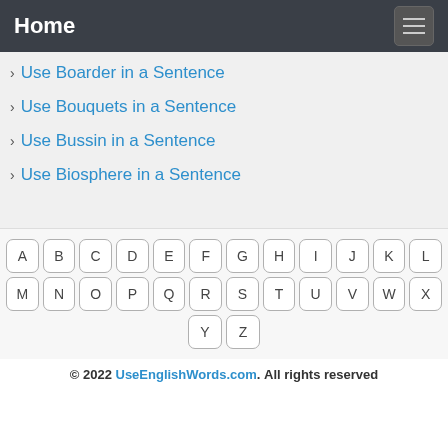Home
Use Boarder in a Sentence
Use Bouquets in a Sentence
Use Bussin in a Sentence
Use Biosphere in a Sentence
[Figure (other): Keyboard navigation with letter buttons A-Z arranged in rows]
© 2022 UseEnglishWords.com. All rights reserved